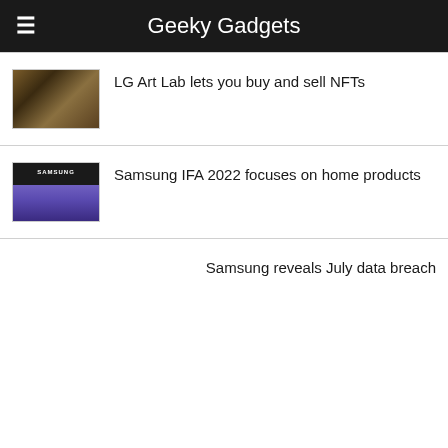Geeky Gadgets
LG Art Lab lets you buy and sell NFTs
Samsung IFA 2022 focuses on home products
Samsung reveals July data breach